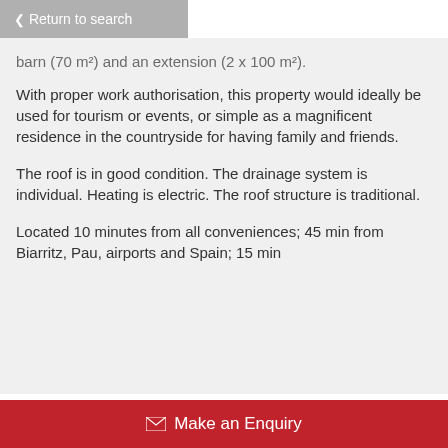< Return to search
barn (70 m²) and an extension (2 x 100 m²).
With proper work authorisation, this property would ideally be used for tourism or events, or simple as a magnificent residence in the countryside for having family and friends.
The roof is in good condition. The drainage system is individual. Heating is electric. The roof structure is traditional.
Located 10 minutes from all conveniences; 45 min from Biarritz, Pau, airports and Spain; 15 min
✉ Make an Enquiry